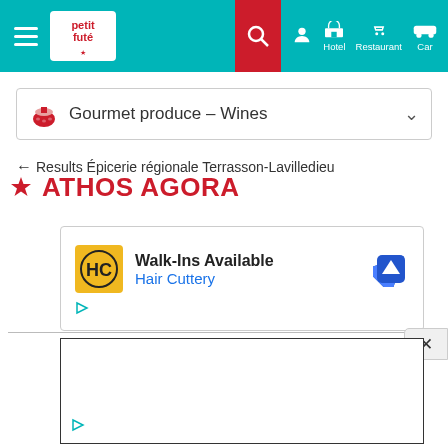[Figure (screenshot): Petit Futé navigation bar with hamburger menu, logo, search icon, user icon, Hotel, Restaurant, Car icons on teal background with red search box]
Gourmet produce – Wines
← Results Épicerie régionale Terrasson-Lavilledieu
ATHOS AGORA
[Figure (screenshot): Advertisement: Walk-Ins Available - Hair Cuttery with HC logo on yellow background and navigation arrow icon]
[Figure (screenshot): Second advertisement box, mostly empty with a play/ad indicator icon at bottom left]